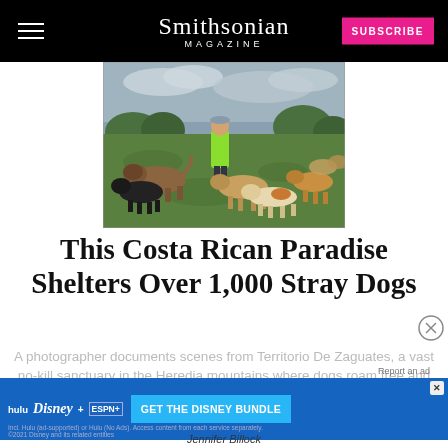Smithsonian MAGAZINE
[Figure (photo): Person in bright green jacket standing in an open green field surrounded by a large pack of stray dogs of various breeds and colors, with trees and cloudy sky in the background.]
This Costa Rican Paradise Shelters Over 1,000 Stray Dogs
A photographer documents scenes from Territorio De Zaguates, a vast no-kill sanctuary in the Heredia mountains where dogs roam free and find forever homes beyond
[Figure (screenshot): Disney Bundle advertisement banner featuring Hulu, Disney+, and ESPN+ logos with 'GET THE DISNEY BUNDLE' call to action text on a blue background.]
Jennifer Billock